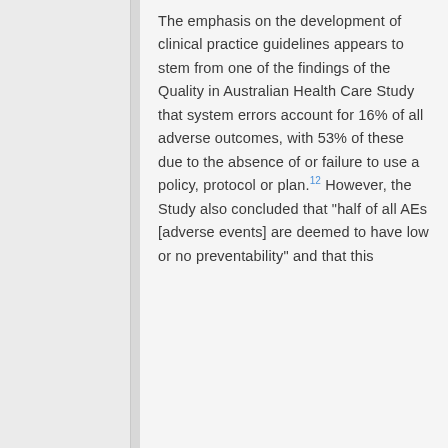The emphasis on the development of clinical practice guidelines appears to stem from one of the findings of the Quality in Australian Health Care Study that system errors account for 16% of all adverse outcomes, with 53% of these due to the absence of or failure to use a policy, protocol or plan.12 However, the Study also concluded that "half of all AEs [adverse events] are deemed to have low or no preventability" and that this